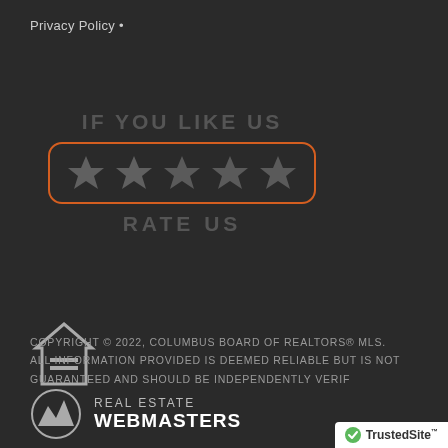Privacy Policy •
[Figure (infographic): Five-star rating widget with orange rounded rectangle border, text 'IF YOU LIKE US' above and 'RATE US' below five grey stars]
[Figure (logo): Equal Housing Opportunity logo - house with equals sign]
[Figure (logo): Real Estate Webmasters logo with mountain/wave icon and text 'REAL ESTATE WEBMASTERS']
COPYRIGHT © 2022, COLUMBUS BOARD OF REALTORS® MLS. ALL INFORMATION PROVIDED IS DEEMED RELIABLE BUT IS NOT GUARANTEED AND SHOULD BE INDEPENDENTLY VERIF
[Figure (logo): TrustedSite badge with green checkmark]